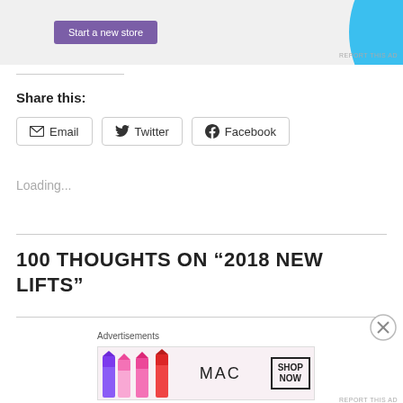[Figure (other): Top advertisement banner with purple 'Start a new store' button and cyan/blue decorative shape on the right]
Share this:
Email
Twitter
Facebook
Loading...
100 THOUGHTS ON “2018 NEW LIFTS”
[Figure (other): Bottom advertisement banner for MAC cosmetics showing lipsticks and SHOP NOW box]